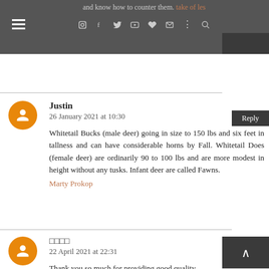and know how to counter them. [link text]
Justin
26 January 2021 at 10:30

Whitetail Bucks (male deer) going in size to 150 lbs and six feet in tallness and can have considerable horns by Fall. Whitetail Does (female deer) are ordinarily 90 to 100 lbs and are more modest in height without any tusks. Infant deer are called Fawns.
Marty Prokop
□□□□
22 April 2021 at 22:31

Thank you so much for providing good quality